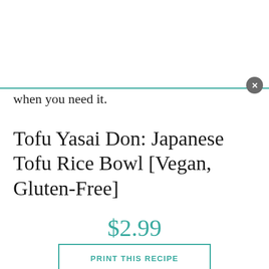[Figure (screenshot): Top modal/popup overlay area with teal bottom border and close (X) button on the right]
when you need it.
Tofu Yasai Don: Japanese Tofu Rice Bowl [Vegan, Gluten-Free]
$2.99
PRINT THIS RECIPE
Save Trees. Print Less. But if you must, we charge $2.99 to encourage less waste
[Figure (screenshot): Bottom modal/popup overlay area with teal top border and close (X) button on the right, with gray footer bar]